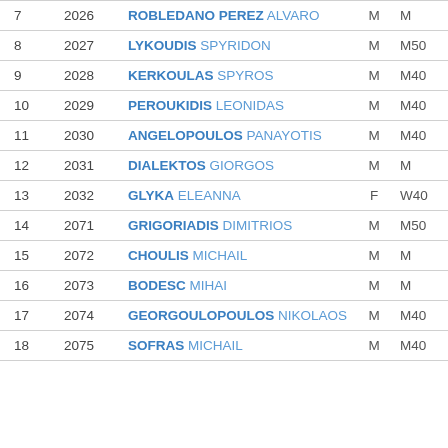| # | Bib | Name | Sex | Cat |
| --- | --- | --- | --- | --- |
| 7 | 2026 | ROBLEDANO PEREZ ALVARO | M | M |
| 8 | 2027 | LYKOUDIS SPYRIDON | M | M50 |
| 9 | 2028 | KERKOULAS SPYROS | M | M40 |
| 10 | 2029 | PEROUKIDIS LEONIDAS | M | M40 |
| 11 | 2030 | ANGELOPOULOS PANAYOTIS | M | M40 |
| 12 | 2031 | DIALEKTOS GIORGOS | M | M |
| 13 | 2032 | GLYKA ELEANNA | F | W40 |
| 14 | 2071 | GRIGORIADIS DIMITRIOS | M | M50 |
| 15 | 2072 | CHOULIS MICHAIL | M | M |
| 16 | 2073 | BODESC MIHAI | M | M |
| 17 | 2074 | GEORGOULOPOULOS NIKOLAOS | M | M40 |
| 18 | 2075 | SOFRAS MICHAIL | M | M40 |